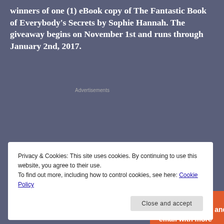winners of one (1) eBook copy of The Fantastic Book of Everybody's Secrets by Sophie Hannah. The giveaway begins on November 1st and runs through January 2nd, 2017.
[Figure (illustration): DuckDuckGo advertisement banner with orange background, showing 'Search, browse, and email with more privacy. All in One Free App' text and a phone with DuckDuckGo app.]
Privacy & Cookies: This site uses cookies. By continuing to use this website, you agree to their use. To find out more, including how to control cookies, see here: Cookie Policy
Close and accept